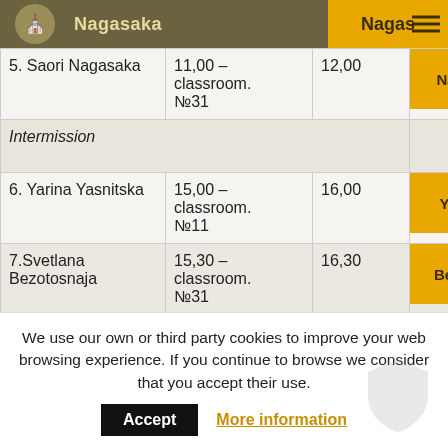| Name | Time | End | Button |
| --- | --- | --- | --- |
| 5. Saori Nagasaka | 11,00 – classroom. №31 | 12,00 | Nagas... |
| Intermission |  |  |  |
| 6. Yarina Yasnitska | 15,00 – classroom. №11 | 16,00 | Yasni... |
| 7.Svetlana Bezotosnaja | 15,30 – classroom. №31 | 16,30 | Bezoto... |
| 8. ... | 16,00 | 17,00 | ... |
We use our own or third party cookies to improve your web browsing experience. If you continue to browse we consider that you accept their use. Accept More information